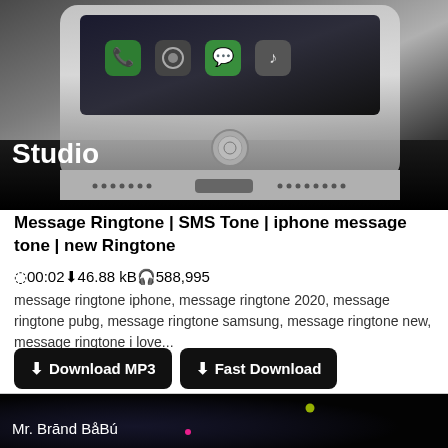[Figure (photo): Smartphone (iPhone-style) viewed from the bottom edge showing home button, speaker grilles, and lightning connector port, on dark background. Text 'Studio' visible in white at lower left.]
Message Ringtone | SMS Tone | iphone message tone | new Ringtone
00:02  46.88 kB  588,995
message ringtone iphone, message ringtone 2020, message ringtone pubg, message ringtone samsung, message ringtone new, message ringtone i love...
Download MP3   Fast Download
[Figure (screenshot): Dark background image with colorful dots (pink and green/yellow), with text 'Mr. Brānd BāBú' in white at lower left.]